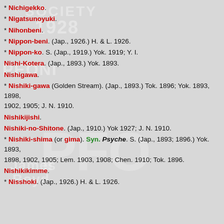* Nichigekko.
* Nigatsunoyuki.
* Nihonbeni.
* Nippon-beni. (Jap., 1926.) H. & L. 1926.
* Nippon-ko. S. (Jap., 1919.) Yok. 1919; Y. I.
Nishi-Kotera. (Jap., 1893.) Yok. 1893.
Nishigawa.
* Nishiki-gawa (Golden Stream). (Jap., 1893.) Tok. 1896; Yok. 1893, 1898, 1902, 1905; J. N. 1910.
Nishikijishi.
Nishiki-no-Shitone. (Jap., 1910.) Yok 1927; J. N. 1910.
* Nishiki-shima (or gima). Syn. Psyche. S. (Jap., 1893; 1896.) Yok. 1893, 1898, 1902, 1905; Lem. 1903, 1908; Chen. 1910; Tok. 1896.
Nishikikimme.
* Nisshoki. (Jap., 1926.) H. & L. 1926.